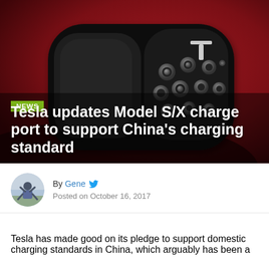[Figure (photo): Close-up photo of a Tesla Model S/X charge port connector on a red Tesla car. The connector is black with multiple circular charging pins visible on the right side and the Tesla 'T' logo on the top right of the port housing.]
Tesla updates Model S/X charge port to support China's charging standard
By Gene  Posted on October 16, 2017
Tesla has made good on its pledge to support domestic charging standards in China, which arguably has been a